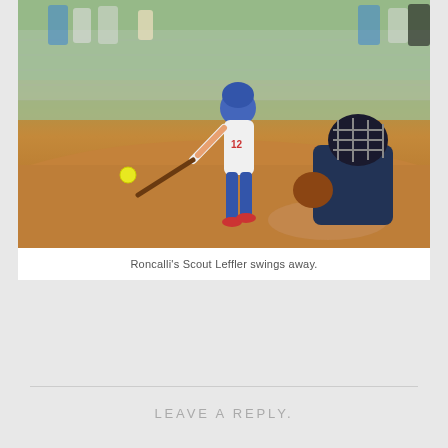[Figure (photo): A softball player wearing jersey number 12 swinging a bat at a pitch, with a catcher in full gear crouching behind home plate. Spectators are visible in bleachers behind a chain-link fence in the background.]
Roncalli's Scout Leffler swings away.
Tweet
0 Comments
LEAVE A REPLY.